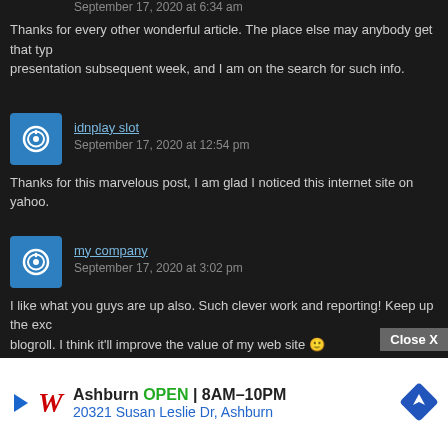September 17, 2020 at 6:34 am
Thanks for every other wonderful article. The place else may anybody get that type of info in such a perfect means of writing? I have a presentation subsequent week, and I am on the search for such info.
idnplay slot
September 17, 2020 at 12:54 pm
Thanks for this marvelous post, I am glad I noticed this internet site on yahoo.
my company
September 17, 2020 at 3:02 pm
I like what you guys are up also. Such clever work and reporting! Keep up the excellent works guys I've incorporated you guys to my blogroll. I think it'll improve the value of my web site 🙂
judi bola
September 17, 2020 at 5:07 pm
I am really inspired along with your writing talents as well as with the format to your weblog. Is that this a paid topic or did you modify it your self? Anyway keep up the nice quality writing, it is rare to see a nice blog audioblog like this one nowadays.. I actually have run into any web page that had such an issue but apparently directly in Explorer, but directly in Explorer. fix this issue.
[Figure (infographic): Advertisement overlay: Walgreens pharmacy ad showing 'Ashburn OPEN 8AM-10PM, 20321 Susan Leslie Dr, Ashburn' with Close X button]